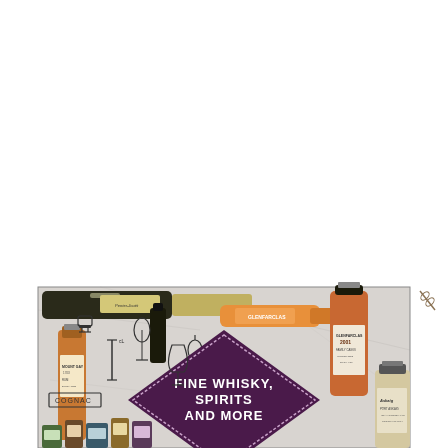[Figure (illustration): Promotional image for a fine whisky, spirits and more auction or catalog. Features various bottles of whisky, champagne, cognac, and spirits arranged on a light grey/marble background with illustrated icons (glasses, barrel, grapes, wheat). A large dark purple diamond shape in the center contains the text 'FINE WHISKY, SPIRITS AND MORE' in white bold uppercase letters. Bottles include a Glenfarclas 2001 whisky, Askaig 21-year-old, Mount Gay rum, a champagne bottle labeled Perrier-Jouet, and others. Icons include 'COGNAC', 'SINGLE CASK', 'Champagne' in script, and '21 YEAR OLD'.]